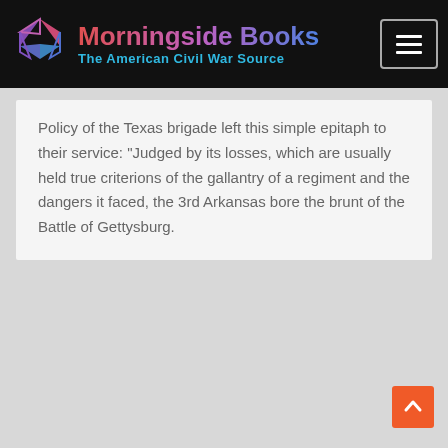Morningside Books — The American Civil War Source
Policy of the Texas brigade left this simple epitaph to their service: “Judged by its losses, which are usually held true criterions of the gallantry of a regiment and the dangers it faced, the 3rd Arkansas bore the brunt of the Battle of Gettysburg.